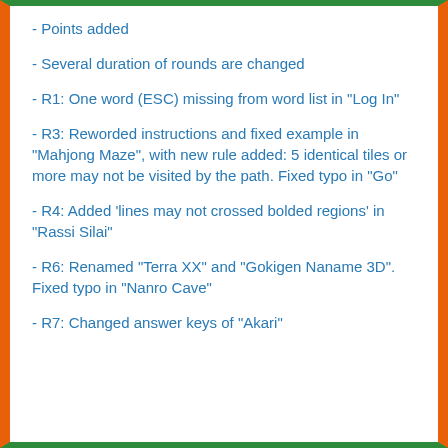- Points added
- Several duration of rounds are changed
- R1: One word (ESC) missing from word list in "Log In"
- R3: Reworded instructions and fixed example in "Mahjong Maze", with new rule added: 5 identical tiles or more may not be visited by the path. Fixed typo in "Go"
- R4: Added 'lines may not crossed bolded regions' in "Rassi Silai"
- R6: Renamed "Terra XX" and "Gokigen Naname 3D". Fixed typo in "Nanro Cave"
- R7: Changed answer keys of "Akari"